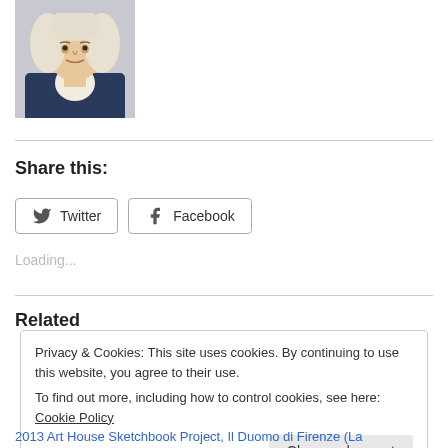[Figure (illustration): Portrait illustration of a historical figure wearing a white wig and dark coat with white cravat, shown from shoulders up]
Share this:
Twitter  Facebook
Loading...
Related
Privacy & Cookies: This site uses cookies. By continuing to use this website, you agree to their use.
To find out more, including how to control cookies, see here: Cookie Policy
Close and accept
2013 Art House Sketchbook Project, Il Duomo di Firenze (La